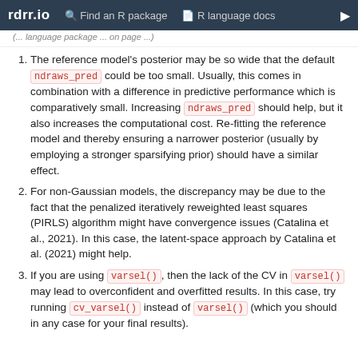rdrr.io  Find an R package  R language docs
(... language package ... page ...)
The reference model's posterior may be so wide that the default ndraws_pred could be too small. Usually, this comes in combination with a difference in predictive performance which is comparatively small. Increasing ndraws_pred should help, but it also increases the computational cost. Re-fitting the reference model and thereby ensuring a narrower posterior (usually by employing a stronger sparsifying prior) should have a similar effect.
For non-Gaussian models, the discrepancy may be due to the fact that the penalized iteratively reweighted least squares (PIRLS) algorithm might have convergence issues (Catalina et al., 2021). In this case, the latent-space approach by Catalina et al. (2021) might help.
If you are using varsel(), then the lack of the CV in varsel() may lead to overconfident and overfitted results. In this case, try running cv_varsel() instead of varsel() (which you should in any case for your final results).